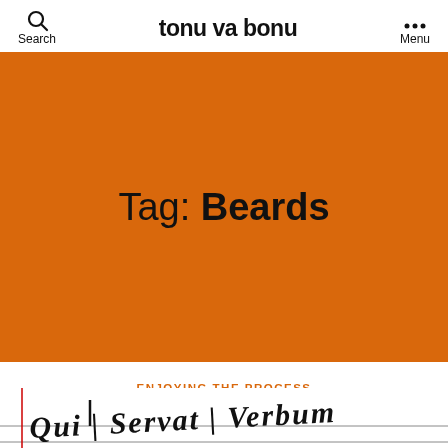tonu va bonu  Search  Menu
Tag: Beards
ENJOYING THE PROCESS
Forty-one in Forty-one
By Sean Higgins  June 8, 2015
[Figure (photo): Handwritten text on a lined page showing 'Qui | Servat | Verbum']